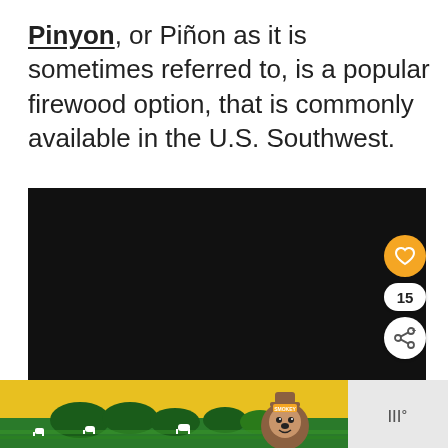Pinyon, or Piñon as it is sometimes referred to, is a popular firewood option, that is commonly available in the U.S. Southwest.
[Figure (screenshot): A dark/black video player with social interaction buttons (heart, count 15, share) and a 'What's Next' overlay showing 'How to Reduce Fire...' with a thumbnail image]
[Figure (photo): An advertisement banner featuring Smokey Bear and illustrated green landscape with cows, yellow sky background]